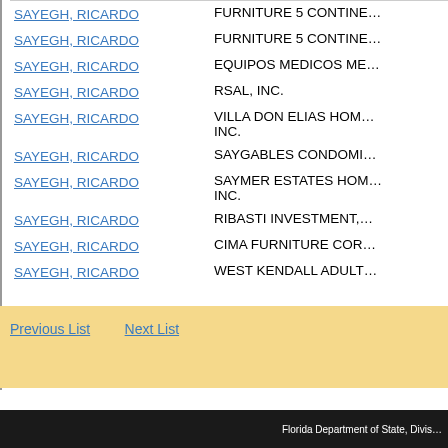| Name | Company |
| --- | --- |
| SAYEGH, RICARDO | FURNITURE 5 CONTINE… |
| SAYEGH, RICARDO | FURNITURE 5 CONTINE… |
| SAYEGH, RICARDO | EQUIPOS MEDICOS ME… |
| SAYEGH, RICARDO | RSAL, INC. |
| SAYEGH, RICARDO | VILLA DON ELIAS HOME… INC. |
| SAYEGH, RICARDO | SAYGABLES CONDOMI… |
| SAYEGH, RICARDO | SAYMER ESTATES HOM… INC. |
| SAYEGH, RICARDO | RIBASTI INVESTMENT,… |
| SAYEGH, RICARDO | CIMA FURNITURE COR… |
| SAYEGH, RICARDO | WEST KENDALL ADULT… |
Previous List
Next List
Florida Department of State, Divis…